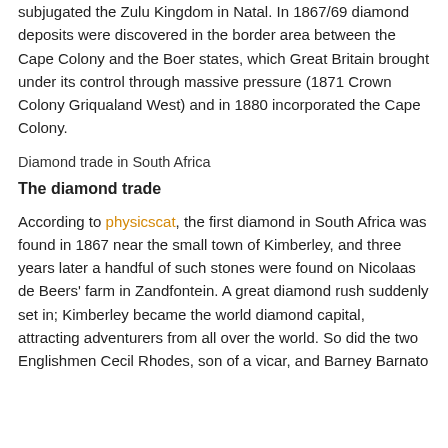subjugated the Zulu Kingdom in Natal. In 1867/69 diamond deposits were discovered in the border area between the Cape Colony and the Boer states, which Great Britain brought under its control through massive pressure (1871 Crown Colony Griqualand West) and in 1880 incorporated the Cape Colony.
Diamond trade in South Africa
The diamond trade
According to physicscat, the first diamond in South Africa was found in 1867 near the small town of Kimberley, and three years later a handful of such stones were found on Nicolaas de Beers' farm in Zandfontein. A great diamond rush suddenly set in; Kimberley became the world diamond capital, attracting adventurers from all over the world. So did the two Englishmen Cecil Rhodes, son of a vicar, and Barney Barnato